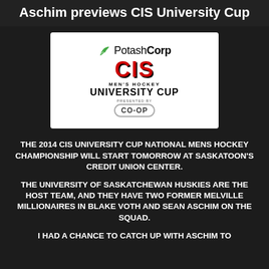Aschim previews CIS University Cup
[Figure (logo): PotashCorp CIS Men's Hockey University Cup presented by CO-OP logo on white background]
THE 2014 CIS UNIVERSITY CUP NATIONAL MENS HOCKEY CHAMPIONSHIP WILL START TOMORROW AT SASKATOON'S CREDIT UNION CENTER.
THE UNIVERSITY OF SASKATCHEWAN HUSKIES ARE THE HOST TEAM, AND THEY HAVE TWO FORMER MELVILLE MILLIONAIRES IN BLAKE VOTH AND SEAN ASCHIM ON THE SQUAD.
I HAD A CHANCE TO CATCH UP WITH ASCHIM TO